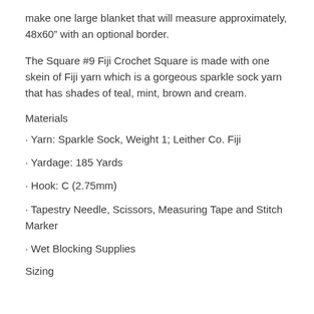make one large blanket that will measure approximately, 48x60" with an optional border.
The Square #9 Fiji Crochet Square is made with one skein of Fiji yarn which is a gorgeous sparkle sock yarn that has shades of teal, mint, brown and cream.
Materials
· Yarn: Sparkle Sock, Weight 1; Leither Co. Fiji
· Yardage: 185 Yards
· Hook: C (2.75mm)
· Tapestry Needle, Scissors, Measuring Tape and Stitch Marker
· Wet Blocking Supplies
Sizing